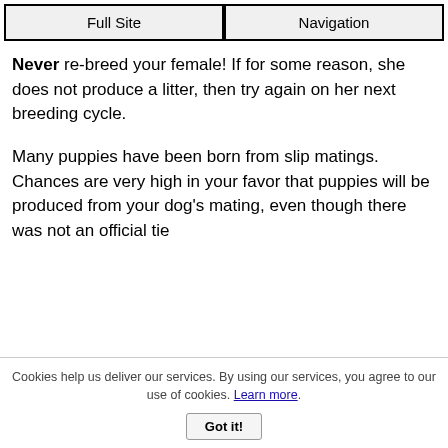Full Site | Navigation
Never re-breed your female!  If for some reason, she does not produce a litter, then try again on her next breeding cycle.
Many puppies have been born from slip matings.  Chances are very high in your favor that puppies will be produced from your dog's mating, even though there was not an official tie
Cookies help us deliver our services. By using our services, you agree to our use of cookies. Learn more. Got it!